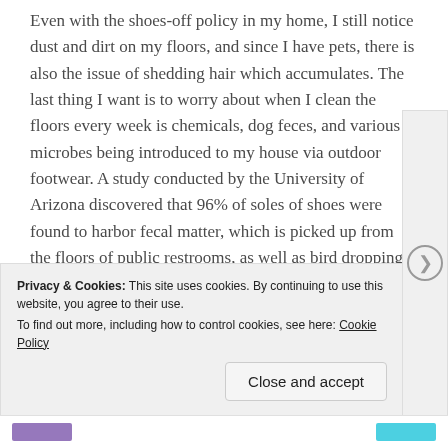Even with the shoes-off policy in my home, I still notice dust and dirt on my floors, and since I have pets, there is also the issue of shedding hair which accumulates. The last thing I want is to worry about when I clean the floors every week is chemicals, dog feces, and various microbes being introduced to my house via outdoor footwear. A study conducted by the University of Arizona discovered that 96% of soles of shoes were found to harbor fecal matter, which is picked up from the floors of public restrooms, as well as bird droppings and dog feces from asphalt, concrete, grass and soil. When you wear your shoes inside your house,
Privacy & Cookies: This site uses cookies. By continuing to use this website, you agree to their use.
To find out more, including how to control cookies, see here: Cookie Policy
Close and accept